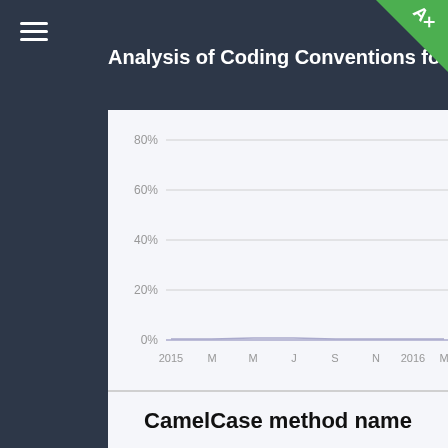Analysis of Coding Conventions for Zend
[Figure (continuous-plot): Line/area chart showing percentage over time from 2015 to 2016+, with y-axis from 0% to 80% and x-axis labels: 2015, M, M, J, S, N, 2016, M. The chart area appears mostly empty/flat near 0% suggesting very low values throughout the period.]
CamelCase method name